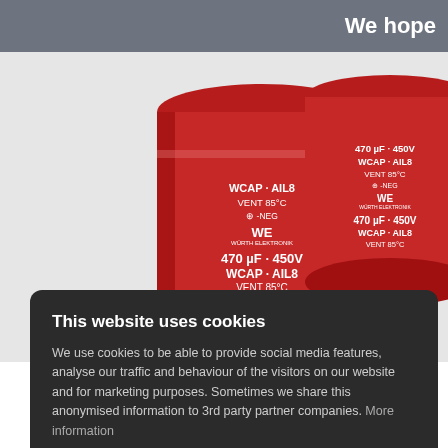We hope
[Figure (photo): Two large red cylindrical electrolytic capacitors labeled '470 µF - 450V WCAP-AIL8 VENT 85°C -NEG' with Würth Elektronik logo, photographed on a white background.]
This website uses cookies
We use cookies to be able to provide social media features, analyse our traffic and behaviour of the visitors on our website and for marketing purposes. Sometimes we share this anonymised information to 3rd party partner companies. More information